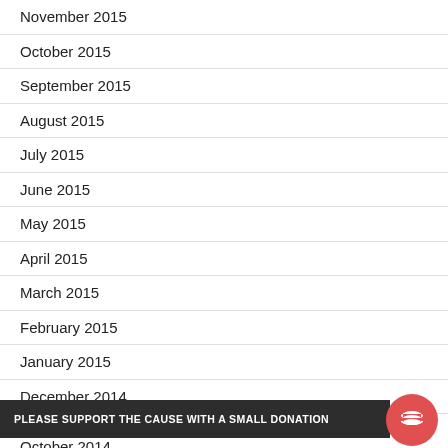November 2015
October 2015
September 2015
August 2015
July 2015
June 2015
May 2015
April 2015
March 2015
February 2015
January 2015
December 2014
PLEASE SUPPORT THE CAUSE WITH A SMALL DONATION
October 2014